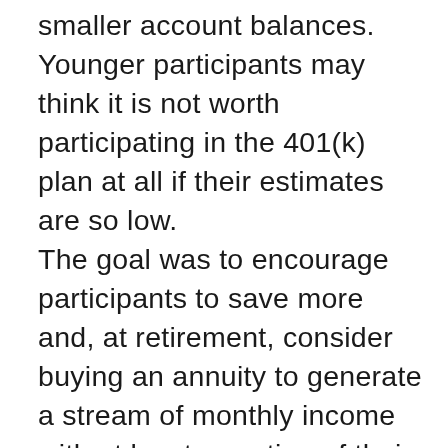smaller account balances.  Younger participants may think it is not worth participating in the 401(k) plan at all if their estimates are so low.
The goal was to encourage participants to save more and, at retirement, consider buying an annuity to generate a stream of monthly income with at least a portion of their balances.  The feedback we have received from our